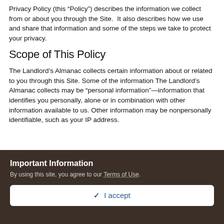Privacy Policy (this “Policy”) describes the information we collect from or about you through the Site.  It also describes how we use and share that information and some of the steps we take to protect your privacy.
Scope of This Policy
The Landlord’s Almanac collects certain information about or related to you through this Site. Some of the information The Landlord’s Almanac collects may be “personal information”—information that identifies you personally, alone or in combination with other information available to us. Other information may be nonpersonally identifiable, such as your IP address.
Important Information
By using this site, you agree to our Terms of Use.
✓ I accept